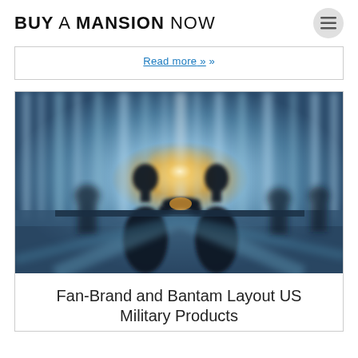BUY A MANSION NOW
Read more »
[Figure (photo): Two silhouetted business people shaking hands in a modern glass office building, with other people blurred in the background, backlit by bright sunlight creating a dramatic effect.]
Fan-Brand and Bantam Layout US Military Products